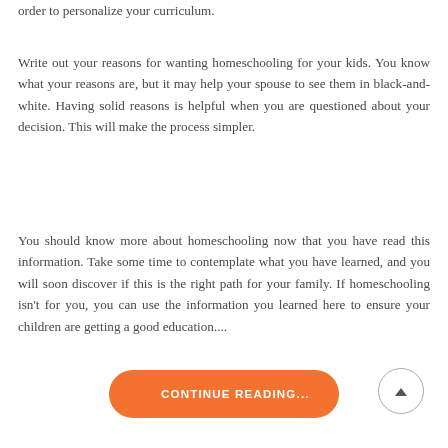order to personalize your curriculum.
Write out your reasons for wanting homeschooling for your kids. You know what your reasons are, but it may help your spouse to see them in black-and-white. Having solid reasons is helpful when you are questioned about your decision. This will make the process simpler.
You should know more about homeschooling now that you have read this information. Take some time to contemplate what you have learned, and you will soon discover if this is the right path for your family. If homeschooling isn't for you, you can use the information you learned here to ensure your children are getting a good education....